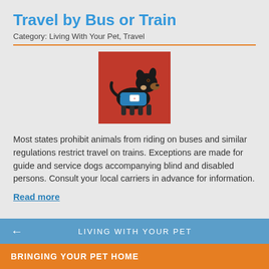Travel by Bus or Train
Category: Living With Your Pet, Travel
[Figure (photo): A small black and tan dog wearing a blue service animal vest standing on a red background]
Most states prohibit animals from riding on buses and similar regulations restrict travel on trains. Exceptions are made for guide and service dogs accompanying blind and disabled persons. Consult your local carriers in advance for information.
Read more
← LIVING WITH YOUR PET
BRINGING YOUR PET HOME